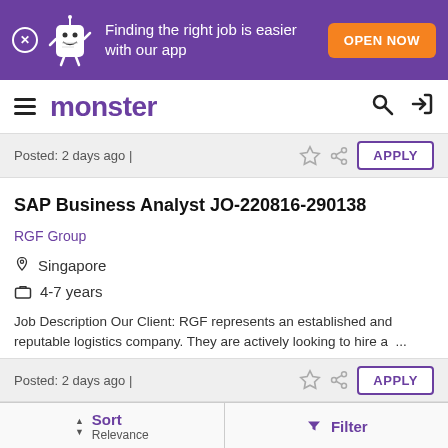[Figure (screenshot): Purple promotional banner with Monster app mascot, text 'Finding the right job is easier with our app' and orange 'OPEN NOW' button]
monster
Posted: 2 days ago |
SAP Business Analyst JO-220816-290138
RGF Group
Singapore
4-7 years
Job Description Our Client: RGF represents an established and reputable logistics company. They are actively looking to hire a ...
Posted: 2 days ago |
Sort Relevance
Filter